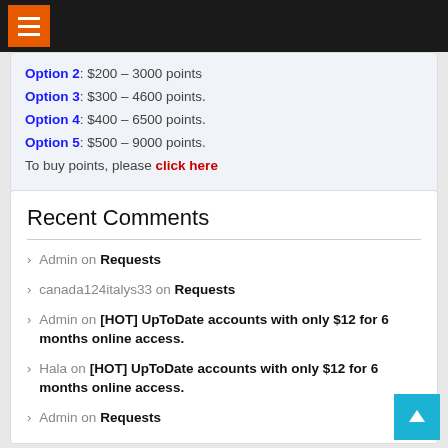Navigation header with hamburger menu
Option 2: $200 – 3000 points
Option 3: $300 – 4600 points.
Option 4: $400 – 6500 points.
Option 5: $500 – 9000 points.
To buy points, please click here
Recent Comments
Admin on Requests
canada124italys33 on Requests
Admin on [HOT] UpToDate accounts with only $12 for 6 months online access.
Hala on [HOT] UpToDate accounts with only $12 for 6 months online access.
Admin on Requests